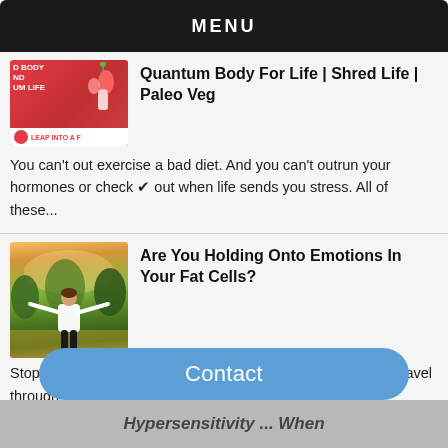MENU
Quantum Body For Life | Shred Life | Paleo Veg
You can't out exercise a bad diet. And you can't outrun your hormones or check ✔ out when life sends you stress. All of these...
Are You Holding Onto Emotions In Your Fat Cells?
Stop and inhale your essential oils. Those aroma molecules travel through the nose and affect your brain through a variety of receptor ...
Contact
Hypersensitivity ... When